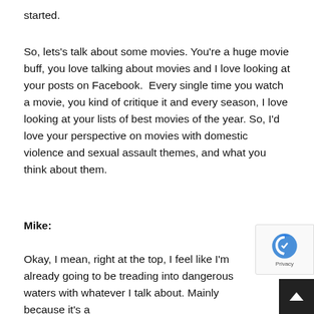started.
So, lets's talk about some movies. You’re a huge movie buff, you love talking about movies and I love looking at your posts on Facebook.  Every single time you watch a movie, you kind of critique it and every season, I love looking at your lists of best movies of the year. So, I’d love your perspective on movies with domestic violence and sexual assault themes, and what you think about them.
Mike:
Okay, I mean, right at the top, I feel like I’m already going to be treading into dangerous waters with whatever I talk about. Mainly because it’s a